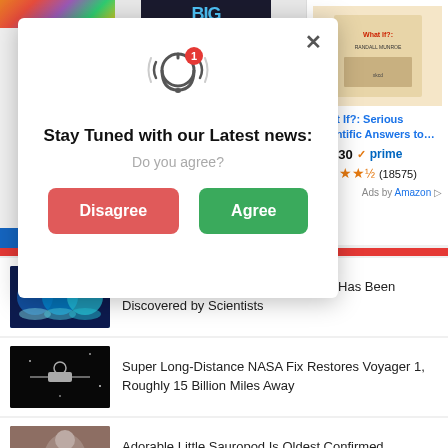[Figure (screenshot): Browser notification permission modal dialog with bell icon, 'Stay Tuned with our Latest news:', 'Do you agree?', Disagree and Agree buttons]
[Figure (screenshot): Amazon sidebar ad showing book 'What If?: Serious Scientific Answers to...' at $13.30 with prime badge and 4.5 star rating (18575 reviews)]
An Eerie New Kind of Martian Aurora Has Been Discovered by Scientists
Super Long-Distance NASA Fix Restores Voyager 1, Roughly 15 Billion Miles Away
Adorable Little Sauropod Is Oldest Confirmed Dinosaur Ever Found in Africa